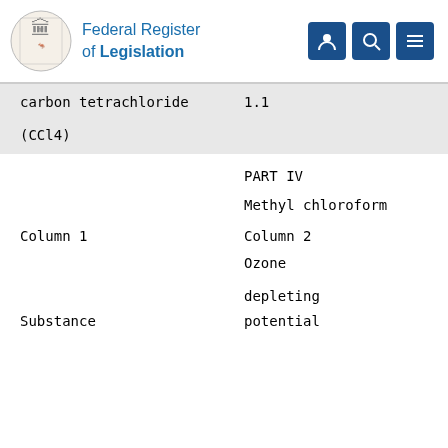Federal Register of Legislation
| Column 1 | Column 2 Ozone depleting potential |
| --- | --- |
| carbon tetrachloride
(CCl4) | 1.1 |
|  | PART IV |
|  | Methyl chloroform |
| Column 1 | Column 2 |
|  | Ozone

depleting |
| Substance | potential |